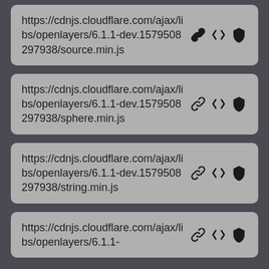https://cdnjs.cloudflare.com/ajax/libs/openlayers/6.1.1-dev.1579508297938/source.min.js
https://cdnjs.cloudflare.com/ajax/libs/openlayers/6.1.1-dev.1579508297938/sphere.min.js
https://cdnjs.cloudflare.com/ajax/libs/openlayers/6.1.1-dev.1579508297938/string.min.js
https://cdnjs.cloudflare.com/ajax/libs/openlayers/6.1.1-dev.